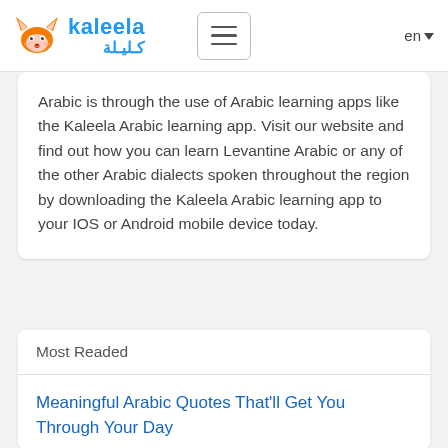kaleela كليلة | en
Arabic is through the use of Arabic learning apps like the Kaleela Arabic learning app. Visit our website and find out how you can learn Levantine Arabic or any of the other Arabic dialects spoken throughout the region by downloading the Kaleela Arabic learning app to your IOS or Android mobile device today.
Most Readed
Meaningful Arabic Quotes That'll Get You Through Your Day